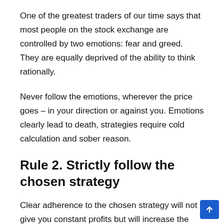One of the greatest traders of our time says that most people on the stock exchange are controlled by two emotions: fear and greed. They are equally deprived of the ability to think rationally.
Never follow the emotions, wherever the price goes – in your direction or against you. Emotions clearly lead to death, strategies require cold calculation and sober reason.
Rule 2. Strictly follow the chosen strategy
Clear adherence to the chosen strategy will not give you constant profits but will increase the number of successful transactions in comparison with unsuccessful ones, so you can not deviate from the planned trading